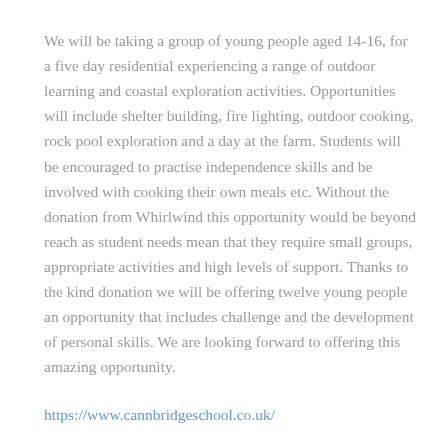We will be taking a group of young people aged 14-16, for a five day residential experiencing a range of outdoor learning and coastal exploration activities. Opportunities will include shelter building, fire lighting, outdoor cooking, rock pool exploration and a day at the farm. Students will be encouraged to practise independence skills and be involved with cooking their own meals etc. Without the donation from Whirlwind this opportunity would be beyond reach as student needs mean that they require small groups, appropriate activities and high levels of support. Thanks to the kind donation we will be offering twelve young people an opportunity that includes challenge and the development of personal skills. We are looking forward to offering this amazing opportunity.
https://www.cannbridgeschool.co.uk/